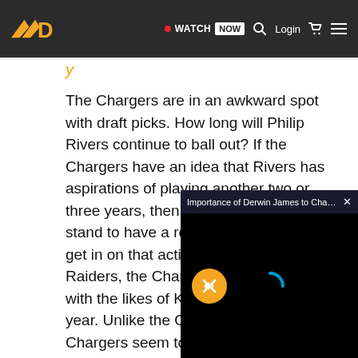WATCH NOW  Login
y
The Chargers are in an awkward spot with draft picks. How long will Philip Rivers continue to ball out? If the Chargers have an idea that Rivers has aspirations of playing another two or three years, then yes -- the Chargers stand to have a reasonable chance to get in on that action. Like the Oakland Raiders, the Chargers also have to deal with the likes of Kansas City twice a year. Unlike the Oakland Raiders, the Chargers seem to have a reasonable ch... title.
And with some other ... to find a chance to pl... a modest chance to m... would cost to make a...
[Figure (screenshot): Video popup overlay showing 'Importance of Derwin James to Charger...' with a close button, mute button (orange circle with mute icon), and a loading spinner arc on black background.]